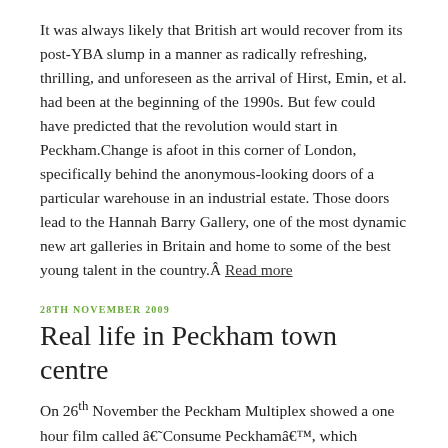It was always likely that British art would recover from its post-YBA slump in a manner as radically refreshing, thrilling, and unforeseen as the arrival of Hirst, Emin, et al. had been at the beginning of the 1990s. But few could have predicted that the revolution would start in Peckham.Change is afoot in this corner of London, specifically behind the anonymous-looking doors of a particular warehouse in an industrial estate. Those doors lead to the Hannah Barry Gallery, one of the most dynamic new art galleries in Britain and home to some of the best young talent in the country.Â  Read more
28TH NOVEMBER 2009
Real life in Peckham town centre
On 26th November the Peckham Multiplex showed a one hour film called â€˜Consume Peckhamâ€™, which